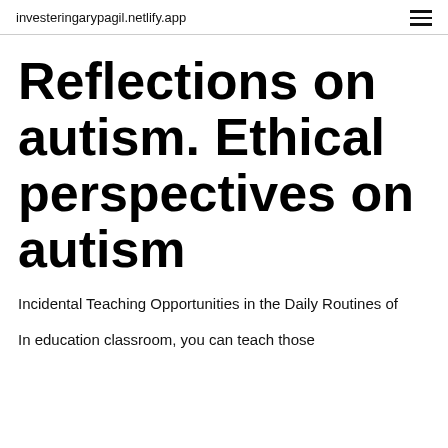investeringarypagil.netlify.app
Reflections on autism. Ethical perspectives on autism
Incidental Teaching Opportunities in the Daily Routines of
In education classroom, you can teach those